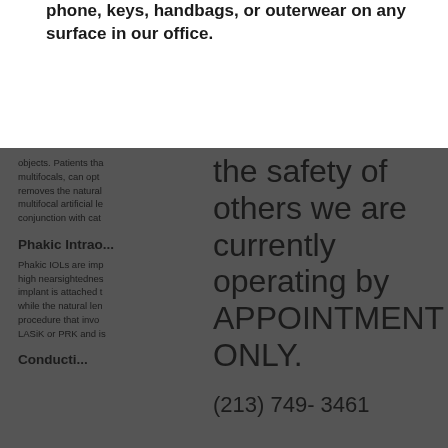phone, keys, handbags, or outerwear on any surface in our office.
objects. Patients that multifocals, can opt removes the natural multifocal artificial le conjunction with cat
Phakic Intrao...
Phakic IOLs are imp high nearsightednes implant is attached t while the natural len procedure that invo LASiK or PRK and is
Conducti...
the safety of others we are currently operating by APPOINTMENT ONLY.
(213) 749- 3461